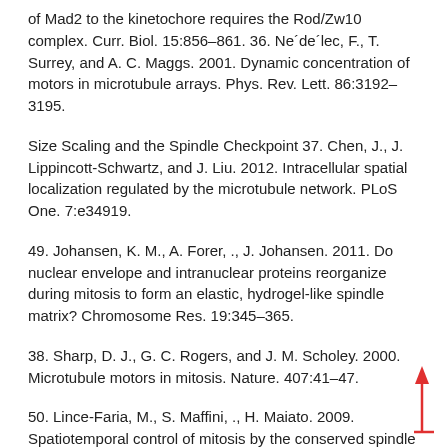of Mad2 to the kinetochore requires the Rod/Zw10 complex. Curr. Biol. 15:856–861. 36. Ne´de´lec, F., T. Surrey, and A. C. Maggs. 2001. Dynamic concentration of motors in microtubule arrays. Phys. Rev. Lett. 86:3192–3195.
Size Scaling and the Spindle Checkpoint 37. Chen, J., J. Lippincott-Schwartz, and J. Liu. 2012. Intracellular spatial localization regulated by the microtubule network. PLoS One. 7:e34919.
49. Johansen, K. M., A. Forer, ., J. Johansen. 2011. Do nuclear envelope and intranuclear proteins reorganize during mitosis to form an elastic, hydrogel-like spindle matrix? Chromosome Res. 19:345–365.
38. Sharp, D. J., G. C. Rogers, and J. M. Scholey. 2000. Microtubule motors in mitosis. Nature. 407:41–47.
50. Lince-Faria, M., S. Maffini, ., H. Maiato. 2009. Spatiotemporal control of mitosis by the conserved spindle matrix protein Megator. J. Cell Biol. 184:647–657.